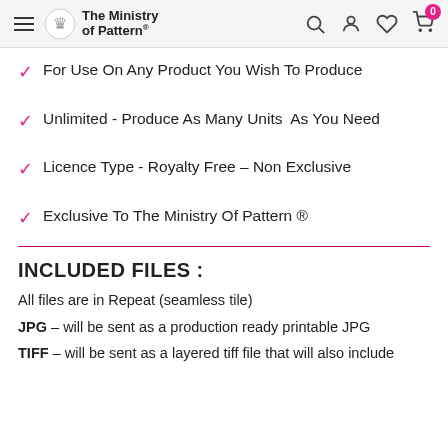The Ministry of Pattern
For Use On Any Product You Wish To Produce
Unlimited - Produce As Many Units  As You Need
Licence Type - Royalty Free – Non Exclusive
Exclusive To The Ministry Of Pattern ®
INCLUDED FILES :
All files are in Repeat (seamless tile)
JPG – will be sent as a production ready printable JPG
TIFF – will be sent as a layered tiff file that will also include